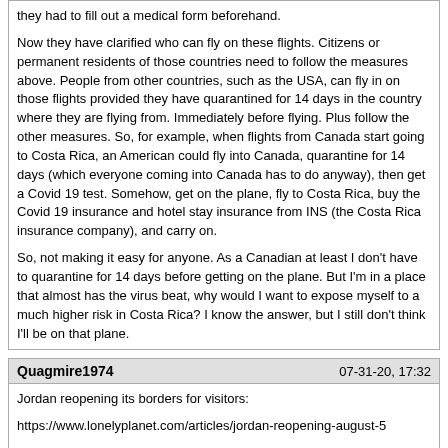they had to fill out a medical form beforehand.

Now they have clarified who can fly on these flights. Citizens or permanent residents of those countries need to follow the measures above. People from other countries, such as the USA, can fly in on those flights provided they have quarantined for 14 days in the country where they are flying from. Immediately before flying. Plus follow the other measures. So, for example, when flights from Canada start going to Costa Rica, an American could fly into Canada, quarantine for 14 days (which everyone coming into Canada has to do anyway), then get a Covid 19 test. Somehow, get on the plane, fly to Costa Rica, buy the Covid 19 insurance and hotel stay insurance from INS (the Costa Rica insurance company), and carry on.

So, not making it easy for anyone. As a Canadian at least I don't have to quarantine for 14 days before getting on the plane. But I'm in a place that almost has the virus beat, why would I want to expose myself to a much higher risk in Costa Rica? I know the answer, but I still don't think I'll be on that plane.
Quagmire1974	07-31-20, 17:32

Jordan reopening its borders for visitors:

https://www.lonelyplanet.com/articles/jordan-reopening-august-5

Bahamas reverses its decision and slams the door on Americans:

https://www.lonelyplanet.com/articles/us-travel-to-bahamas-coronavirus
Artisttyp	08-02-20, 21:05

World.

Is international travel allowed? See reopening dates for Canada, Mexico, Bahamas and other spots.